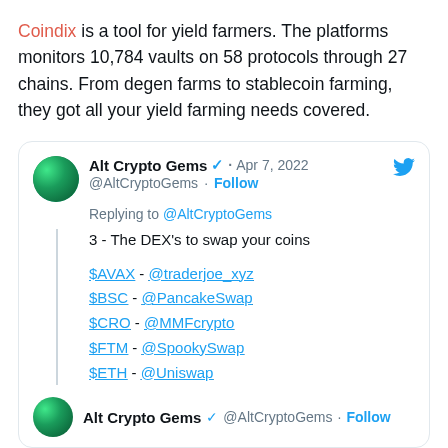Coindix is a tool for yield farmers. The platforms monitors 10,784 vaults on 58 protocols through 27 chains. From degen farms to stablecoin farming, they got all your yield farming needs covered.
[Figure (screenshot): Embedded tweet from @AltCryptoGems dated Apr 7, 2022. Replying to @AltCryptoGems. Text: '3 - The DEX's to swap your coins'. Lists: $AVAX - @traderjoe_xyz, $BSC - @PancakeSwap, $CRO - @MMFcrypto, $FTM - @SpookySwap, $ETH - @Uniswap. Followed by another tweet header from Alt Crypto Gems @AltCryptoGems with Follow link.]
4 - The best stablecoin yields